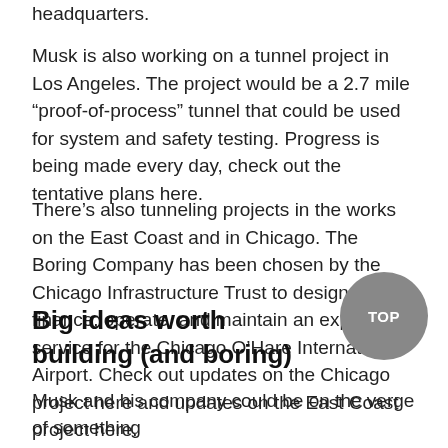headquarters.
Musk is also working on a tunnel project in Los Angeles. The project would be a 2.7 mile “proof-of-process” tunnel that could be used for system and safety testing. Progress is being made every day, check out the tentative plans here.
There’s also tunneling projects in the works on the East Coast and in Chicago. The Boring Company has been chosen by the Chicago Infrastructure Trust to design, build, finance, operate, and maintain an express service for the Chicago O’Hare International Airport. Check out updates on the Chicago project here and updates on the East Coast project here.
Big ideas worth building (and boring)
Musk and his company could be on the verge of something